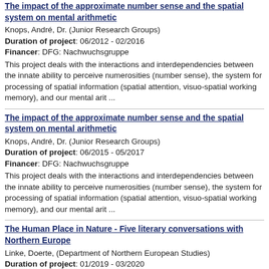The impact of the approximate number sense and the spatial system on mental arithmetic
Knops, André, Dr. (Junior Research Groups)
Duration of project: 06/2012 - 02/2016
Financer: DFG: Nachwuchsgruppe
This project deals with the interactions and interdependencies between the innate ability to perceive numerosities (number sense), the system for processing of spatial information (spatial attention, visuo-spatial working memory), and our mental arit ...
The impact of the approximate number sense and the spatial system on mental arithmetic
Knops, André, Dr. (Junior Research Groups)
Duration of project: 06/2015 - 05/2017
Financer: DFG: Nachwuchsgruppe
This project deals with the interactions and interdependencies between the innate ability to perceive numerosities (number sense), the system for processing of spatial information (spatial attention, visuo-spatial working memory), and our mental arit ...
The Human Place in Nature - Five literary conversations with Northern Europe
Linke, Doerte, (Department of Northern European Studies)
Duration of project: 01/2019 - 03/2020
Financer: Sonstige internationale öffentliche Mittelgeber
The cultural transfer and the diffusion of physical education and sport in Europe, 1918-1945: the Anglo-German case
Eisenberg-Ditt, Christiane, Prof. Dr. Prof. Dr. Christiane Eisenberg (British